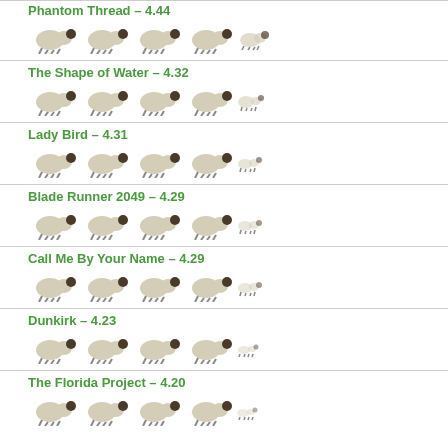Phantom Thread – 4.44
The Shape of Water – 4.32
Lady Bird – 4.31
Blade Runner 2049 – 4.29
Call Me By Your Name – 4.29
Dunkirk – 4.23
The Florida Project – 4.20